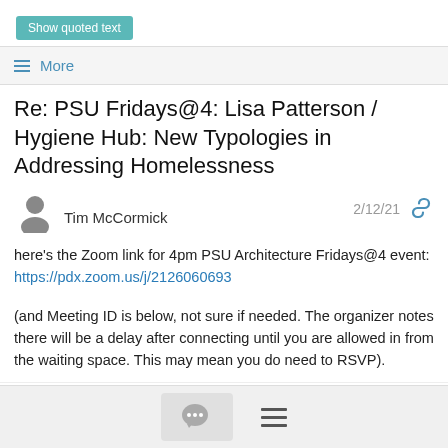Show quoted text
≡ More
Re: PSU Fridays@4: Lisa Patterson / Hygiene Hub: New Typologies in Addressing Homelessness
Tim McCormick   2/12/21
here's the Zoom link for 4pm PSU Architecture Fridays@4 event:
https://pdx.zoom.us/j/2126060693

(and Meeting ID is below, not sure if needed. The organizer notes there will be a delay after connecting until you are allowed in from the waiting space. This may mean you do need to RSVP).
----------- Forwarded message ----------